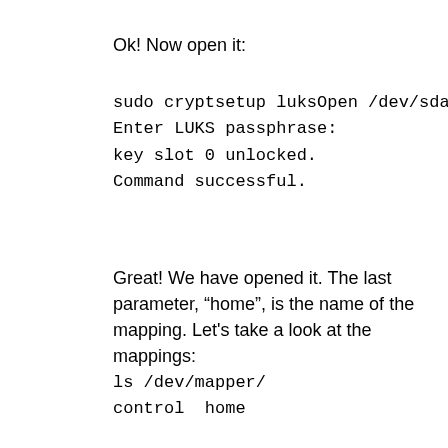Ok! Now open it:
sudo cryptsetup luksOpen /dev/sda6 ho
Enter LUKS passphrase:
key slot 0 unlocked.
Command successful.
Great! We have opened it. The last parameter, “home”, is the name of the mapping. Let’s take a look at the mappings:
ls /dev/mapper/
control  home
Good. This device file is like a partition itself. So, we’ll make a file-system in there in the